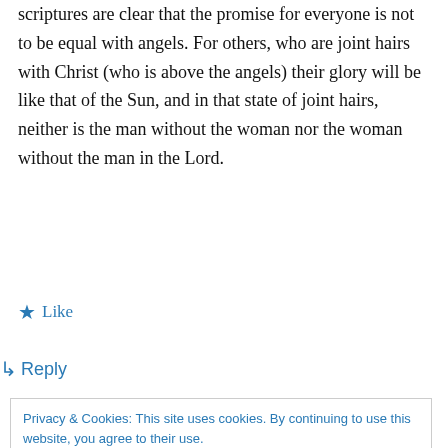scriptures are clear that the promise for everyone is not to be equal with angels. For others, who are joint hairs with Christ (who is above the angels) their glory will be like that of the Sun, and in that state of joint hairs, neither is the man without the woman nor the woman without the man in the Lord.
★ Like
↳ Reply
Privacy & Cookies: This site uses cookies. By continuing to use this website, you agree to their use. To find out more, including how to control cookies, see here: Cookie Policy